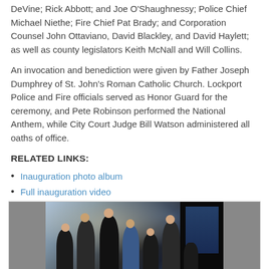DeVine; Rick Abbott; and Joe O'Shaughnessy; Police Chief Michael Niethe; Fire Chief Pat Brady; and Corporation Counsel John Ottaviano, David Blackley, and David Haylett; as well as county legislators Keith McNall and Will Collins.
An invocation and benediction were given by Father Joseph Dumphrey of St. John's Roman Catholic Church. Lockport Police and Fire officials served as Honor Guard for the ceremony, and Pete Robinson performed the National Anthem, while City Court Judge Bill Watson administered all oaths of office.
RELATED LINKS:
Inauguration photo album
Full inauguration video
[Figure (photo): Group of people on stage during an inauguration ceremony, with a judge administering oaths. Several figures visible including a woman in blue, a person in uniform, and others. Dark background with lighting effects.]